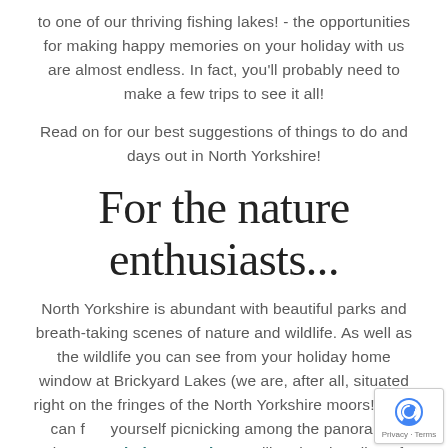to one of our thriving fishing lakes! - the opportunities for making happy memories on your holiday with us are almost endless. In fact, you'll probably need to make a few trips to see it all!
Read on for our best suggestions of things to do and days out in North Yorkshire!
For the nature enthusiasts...
North Yorkshire is abundant with beautiful parks and breath-taking scenes of nature and wildlife. As well as the wildlife you can see from your holiday home window at Brickyard Lakes (we are, after all, situated right on the fringes of the North Yorkshire moors!), you can find yourself picnicking among the panoramic views of Brimham Rocks, strolling the shoreline of Whitby beach